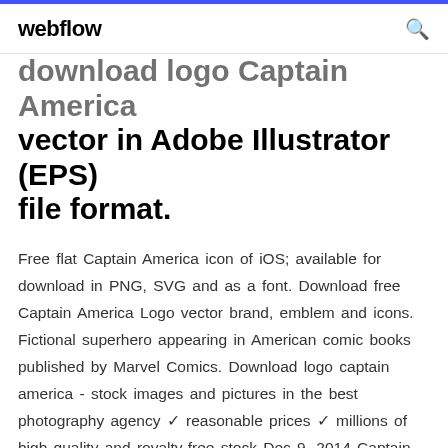webflow
download logo Captain America vector in Adobe Illustrator (EPS) file format.
Free flat Captain America icon of iOS; available for download in PNG, SVG and as a font. Download free Captain America Logo vector brand, emblem and icons. Fictional superhero appearing in American comic books published by Marvel Comics. Download logo captain america - stock images and pictures in the best photography agency ✓ reasonable prices ✓ millions of high quality and royalty-free stock Dec 9, 2014 Captain America vector logo EPS, AI, CDR. Free download logo Captain America